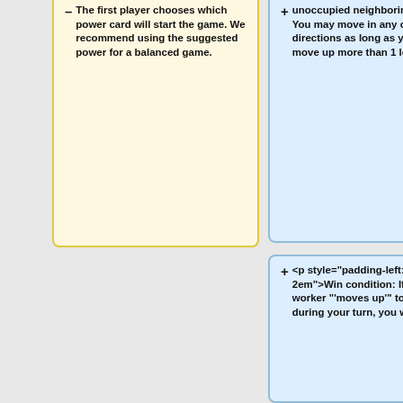– The first player chooses which power card will start the game. We recommend using the suggested power for a balanced game.
+ unoccupied neighboring space. You may move in any of the 8 directions as long as you do not move up more than 1 level.
+ <p style="padding-left: 2em">Win condition: If your worker "'moves up'" to level 3 during your turn, you win!</p>